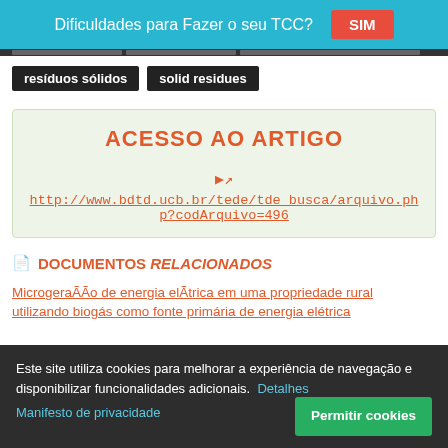Dificuldades para Fazer o seu TCC? SIM
resíduos sólidos
solid residues
ACESSO AO ARTIGO
http://www.bdtd.ucb.br/tede/tde_busca/arquivo.php?codArquivo=496
DOCUMENTOS RELACIONADOS
MicrogeraÃÃo de energia elÃtrica em uma propriedade rural utilizando biogás como fonte primária de energia elétrica
Este site utiliza cookies para melhorar a experiência de navegação e disponibilizar funcionalidades adicionais. Detalhes
Manifesto de privacidade
Permitir cookies